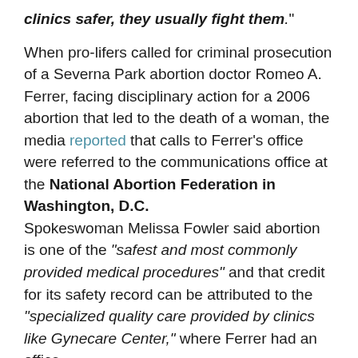clinics safer, they usually fight them."
When pro-lifers called for criminal prosecution of a Severna Park abortion doctor Romeo A. Ferrer, facing disciplinary action for a 2006 abortion that led to the death of a woman, the media reported that calls to Ferrer's office were referred to the communications office at the National Abortion Federation in Washington, D.C.
Spokeswoman Melissa Fowler said abortion is one of the “safest and most commonly provided medical procedures” and that credit for its safety record can be attributed to the “specialized quality care provided by clinics like Gynecare Center,” where Ferrer had an office.
On Feb. 3, 2006, a 21-year-old woman went to Ferrer’s office at the Gynecare Center in Severna Park seeking an abortion. The unidentified Baltimore woman was 16 weeks